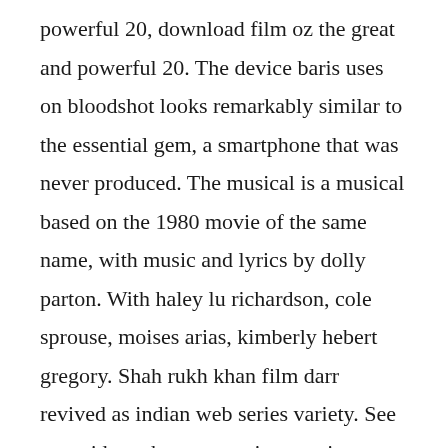powerful 20, download film oz the great and powerful 20. The device baris uses on bloodshot looks remarkably similar to the essential gem, a smartphone that was never produced. The musical is a musical based on the 1980 movie of the same name, with music and lyrics by dolly parton. With haley lu richardson, cole sprouse, moises arias, kimberly hebert gregory. Shah rukh khan film darr revived as indian web series variety. See more ideas about streaming movies, movies to watch and movies online. After the meeting with his wife, 1hr 10 minutes into the film,